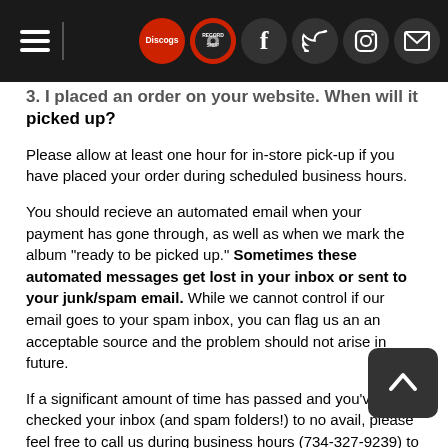Navigation bar with hamburger menu, Discogs logo, record shop logo, Facebook, Twitter, Instagram, and mail icons
3. I placed an order on your website. When will it be ready to be picked up?
Please allow at least one hour for in-store pick-up if you have placed your order during scheduled business hours.
You should recieve an automated email when your payment has gone through, as well as when we mark the album "ready to be picked up." Sometimes these automated messages get lost in your inbox or sent to your junk/spam email. While we cannot control if our email goes to your spam inbox, you can flag us an an acceptable source and the problem should not arise in future.
If a significant amount of time has passed and you've checked your inbox (and spam folders!) to no avail, please feel free to call us during business hours (734-327-9239) to ensure there were no other issues completeing your order.
4. Help! My record is defective! What do I do?
First, try to listen to it on someone else's record player (not a Crosley). Did it work on a different player? Great! We recommend you purchase